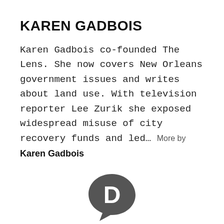KAREN GADBOIS
Karen Gadbois co-founded The Lens. She now covers New Orleans government issues and writes about land use. With television reporter Lee Zurik she exposed widespread misuse of city recovery funds and led... More by Karen Gadbois
[Figure (logo): Disqus logo — a dark grey speech bubble with a white letter D inside]